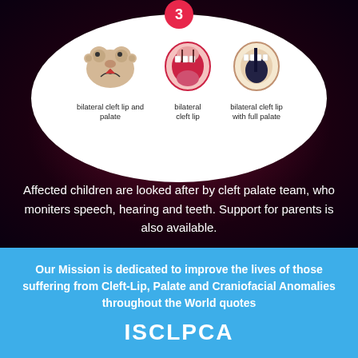[Figure (illustration): Three medical illustrations inside a white oval showing bilateral cleft lip and palate, bilateral cleft lip, and bilateral cleft lip with full palate, each with a label underneath]
Affected children are looked after by cleft palate team, who moniters speech, hearing and teeth. Support for parents is also available.
Our Mission is dedicated to improve the lives of those suffering from Cleft-Lip, Palate and Craniofacial Anomalies throughout the World quotes
ISCLPCA